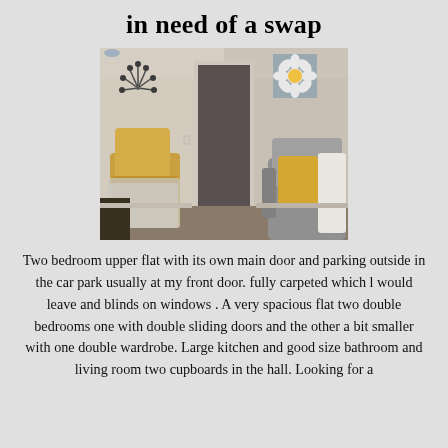in need of a swap
[Figure (photo): Interior photo of a living room with two armchairs — one yellow/mustard coloured on the left and one grey on the right with a yellow cushion. A door is visible in the background, along with a floral wall decoration on the left wall and a flower artwork on the right wall.]
Two bedroom upper flat with its own main door and parking outside in the car park usually at my front door. fully carpeted which l would leave and blinds on windows . A very spacious flat two double bedrooms one with double sliding doors and the other a bit smaller with one double wardrobe. Large kitchen and good size bathroom and living room two cupboards in the hall. Looking for a